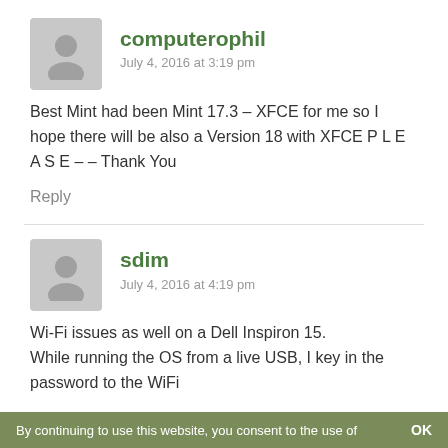[Figure (illustration): Gray avatar icon with person silhouette for user computerophil]
computerophil
July 4, 2016 at 3:19 pm
Best Mint had been Mint 17.3 – XFCE for me so I hope there will be also a Version 18 with XFCE P L E A S E – – Thank You
Reply
[Figure (illustration): Gray avatar icon with person silhouette for user sdim]
sdim
July 4, 2016 at 4:19 pm
Wi-Fi issues as well on a Dell Inspiron 15. While running the OS from a live USB, I key in the password to the WiFi
By continuing to use this website, you consent to the use of    OK